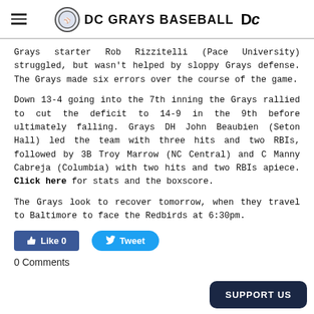DC GRAYS BASEBALL
Grays starter Rob Rizzitelli (Pace University) struggled, but wasn't helped by sloppy Grays defense. The Grays made six errors over the course of the game.
Down 13-4 going into the 7th inning the Grays rallied to cut the deficit to 14-9 in the 9th before ultimately falling. Grays DH John Beaubien (Seton Hall) led the team with three hits and two RBIs, followed by 3B Troy Marrow (NC Central) and C Manny Cabreja (Columbia) with two hits and two RBIs apiece. Click here for stats and the boxscore.
The Grays look to recover tomorrow, when they travel to Baltimore to face the Redbirds at 6:30pm.
[Figure (other): Social sharing buttons: Like 0 (Facebook) and Tweet (Twitter)]
0 Comments
[Figure (other): Support Us button in dark navy blue rounded rectangle]